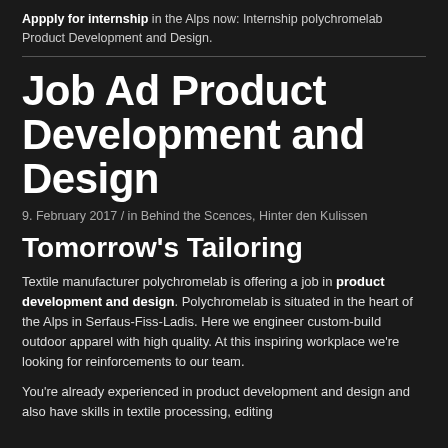Appply for internship in the Alps now: Internship polychromelab Product Development and Design.
Job Ad Product Development and Design
9. February 2017 / in Behind the Scences, Hinter den Kulissen
Tomorrow's Tailoring
Textile manufacturer polychromelab is offering a job in product development and design. Polychromelab is situated in the heart of the Alps in Serfaus-Fiss-Ladis. Here we engineer custom-build outdoor apparel with high quality. At this inspiring workplace we're looking for reinforcements to our team.
You're already experienced in product development and design and also have skills in textile processing, editing